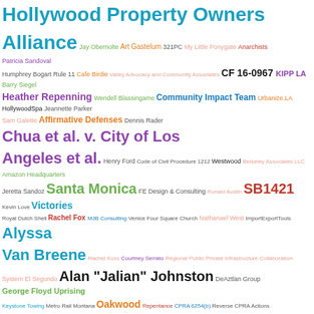[Figure (infographic): Word cloud containing terms related to Hollywood Property Owners Alliance, various legal cases, public figures, and government topics. Terms are displayed in varying sizes and colors including teal, purple, green, orange, pink, olive, and black.]